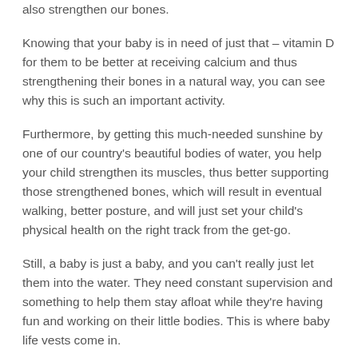also strengthen our bones.
Knowing that your baby is in need of just that – vitamin D for them to be better at receiving calcium and thus strengthening their bones in a natural way, you can see why this is such an important activity.
Furthermore, by getting this much-needed sunshine by one of our country's beautiful bodies of water, you help your child strengthen its muscles, thus better supporting those strengthened bones, which will result in eventual walking, better posture, and will just set your child's physical health on the right track from the get-go.
Still, a baby is just a baby, and you can't really just let them into the water. They need constant supervision and something to help them stay afloat while they're having fun and working on their little bodies. This is where baby life vests come in.
Baby Life Vests: A Two-In-One Item